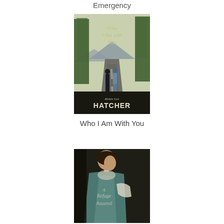Emergency
[Figure (photo): Book cover: 'Who I Am With You' by Robin Lee Hatcher. Two people walking away down a road flanked by trees, mountains in background. Cursive title at top, author name at bottom.]
Who I Am With You
[Figure (photo): Book cover: 'A Refuge Assured' (partially visible). A woman in historical teal/green dress holding something white, dark background with cursive title text.]